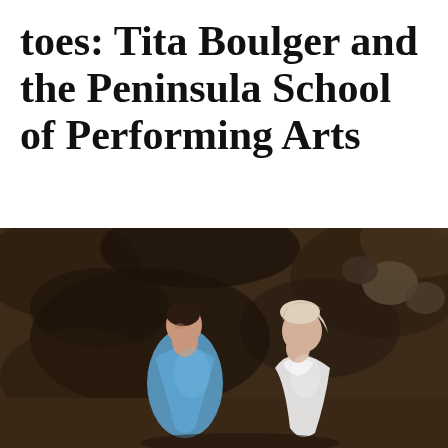toes: Tita Boulger and the Peninsula School of Performing Arts
BONDO WYSZPOLSKI | DECEMBER 13, 2021
SHARE
[Figure (photo): Two ballet dancers in blue and white costumes posed against a rocky outdoor background, heads tilted back, performing together.]